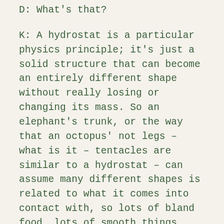D: What's that?
K: A hydrostat is a particular physics principle; it's just a solid structure that can become an entirely different shape without really losing or changing its mass. So an elephant's trunk, or the way that an octopus' not legs – what is it – tentacles are similar to a hydrostat – can assume many different shapes is related to what it comes into contact with, so lots of bland food, lots of smooth things leave the tongue fairly deconditioned to deal with anything else. And then a lot of people will have texture aversions. Kids will have texture aversions because they didn't go through this phase of putting, you know, 400 different textures in